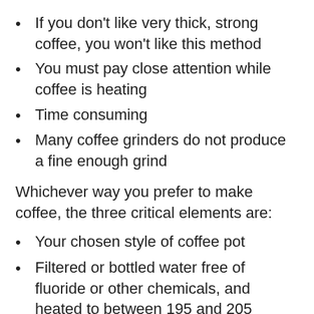If you don't like very thick, strong coffee, you won't like this method
You must pay close attention while coffee is heating
Time consuming
Many coffee grinders do not produce a fine enough grind
Whichever way you prefer to make coffee, the three critical elements are:
Your chosen style of coffee pot
Filtered or bottled water free of fluoride or other chemicals, and heated to between 195 and 205 degrees Fahrenheit